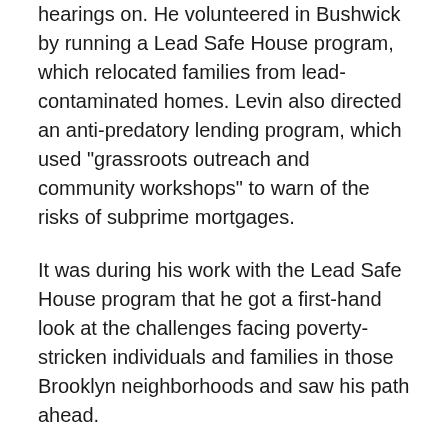hearings on. He volunteered in Bushwick by running a Lead Safe House program, which relocated families from lead-contaminated homes. Levin also directed an anti-predatory lending program, which used "grassroots outreach and community workshops" to warn of the risks of subprime mortgages.
It was during his work with the Lead Safe House program that he got a first-hand look at the challenges facing poverty-stricken individuals and families in those Brooklyn neighborhoods and saw his path ahead.
"I committed to myself that I would work in the field," Levin said. "If I had the opportunity to run for office, I would, in order to try to make a difference."
In 2009, that opportunity presented itself and Levin ran a winning campaign to be elected to represent the 33rd District in the New York City Council. He then joined the Committee on General Welfare, on which he served